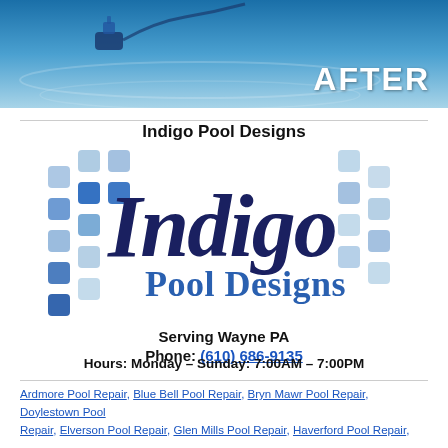[Figure (photo): Blue pool water banner image with a pool cleaner and the word AFTER in white bold text on the right side]
Indigo Pool Designs
[Figure (logo): Indigo Pool Designs logo with blue mosaic tile squares pattern and dark navy italic 'Indigo' text with 'Pool Designs' in blue below]
Serving Wayne PA
Phone: (610) 686-9135
Hours: Monday – Sunday: 7:00AM – 7:00PM
Ardmore Pool Repair, Blue Bell Pool Repair, Bryn Mawr Pool Repair, Doylestown Pool Repair, Elverson Pool Repair, Glen Mills Pool Repair, Haverford Pool Repair,